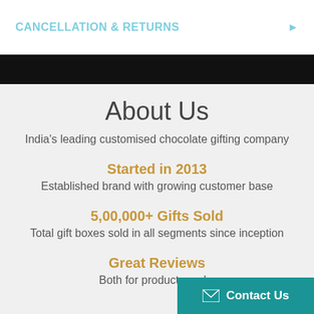CANCELLATION & RETURNS
About Us
India's leading customised chocolate gifting company
Started in 2013
Established brand with growing customer base
5,00,000+ Gifts Sold
Total gift boxes sold in all segments since inception
Great Reviews
Both for products and s...